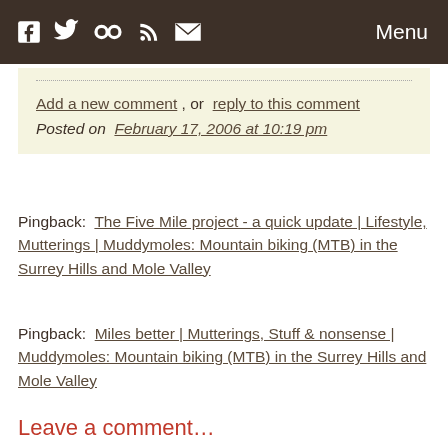[Social icons: Facebook, Twitter, Flickr, RSS, Email] Menu
Add a new comment , or  reply to this comment
Posted on  February 17, 2006 at 10:19 pm
Pingback:  The Five Mile project - a quick update | Lifestyle, Mutterings | Muddymoles: Mountain biking (MTB) in the Surrey Hills and Mole Valley
Pingback:  Miles better | Mutterings, Stuff & nonsense | Muddymoles: Mountain biking (MTB) in the Surrey Hills and Mole Valley
Leave a comment…
Have your say – we'd love to hear what you think.